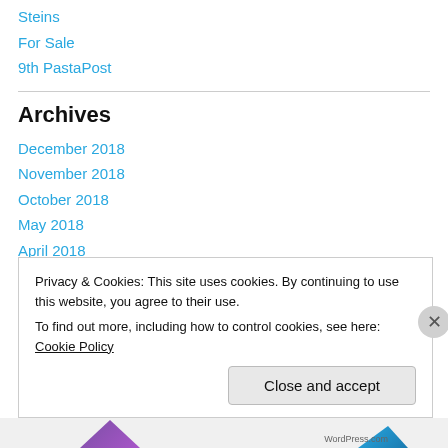Steins
For Sale
9th PastaPost
Archives
December 2018
November 2018
October 2018
May 2018
April 2018
January 2018
Privacy & Cookies: This site uses cookies. By continuing to use this website, you agree to their use.
To find out more, including how to control cookies, see here: Cookie Policy
Close and accept